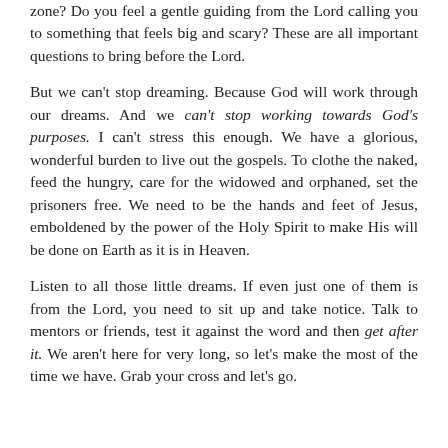zone? Do you feel a gentle guiding from the Lord calling you to something that feels big and scary? These are all important questions to bring before the Lord.
But we can't stop dreaming. Because God will work through our dreams. And we can't stop working towards God's purposes. I can't stress this enough. We have a glorious, wonderful burden to live out the gospels. To clothe the naked, feed the hungry, care for the widowed and orphaned, set the prisoners free. We need to be the hands and feet of Jesus, emboldened by the power of the Holy Spirit to make His will be done on Earth as it is in Heaven.
Listen to all those little dreams. If even just one of them is from the Lord, you need to sit up and take notice. Talk to mentors or friends, test it against the word and then get after it. We aren't here for very long, so let's make the most of the time we have. Grab your cross and let's go.